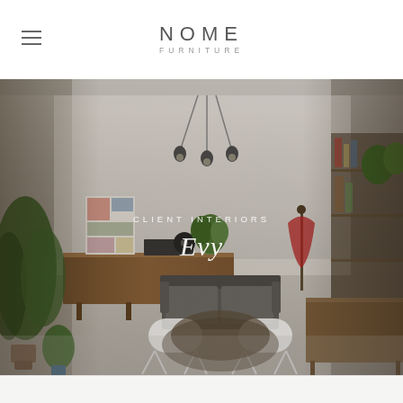[Figure (logo): NOME FURNITURE logo — 'NOME' in large spaced letters above 'FURNITURE' in smaller spaced letters, dark gray on white]
[Figure (photo): Interior room photo showing a mid-century modern living space with plants on the left, a sideboard, pendant lights from ceiling, a sofa and white wire-frame chairs around a coffee table, and a shelving unit on the right wall]
CLIENT INTERIORS
Evy